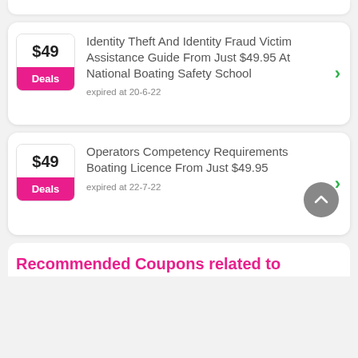Identity Theft And Identity Fraud Victim Assistance Guide From Just $49.95 At National Boating Safety School
expired at 20-6-22
Operators Competency Requirements Boating Licence From Just $49.95
expired at 22-7-22
Recommended Coupons related to